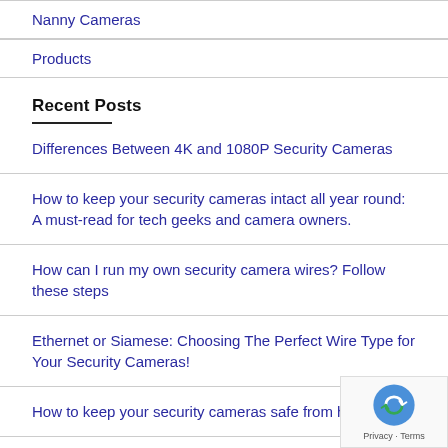Nanny Cameras
Products
Recent Posts
Differences Between 4K and 1080P Security Cameras
How to keep your security cameras intact all year round: A must-read for tech geeks and camera owners.
How can I run my own security camera wires? Follow these steps
Ethernet or Siamese: Choosing The Perfect Wire Type for Your Security Cameras!
How to keep your security cameras safe from hackers